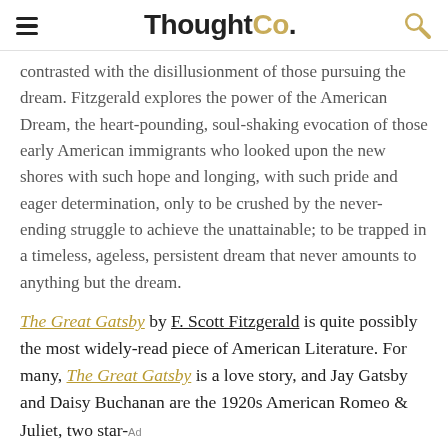ThoughtCo.
contrasted with the disillusionment of those pursuing the dream. Fitzgerald explores the power of the American Dream, the heart-pounding, soul-shaking evocation of those early American immigrants who looked upon the new shores with such hope and longing, with such pride and eager determination, only to be crushed by the never-ending struggle to achieve the unattainable; to be trapped in a timeless, ageless, persistent dream that never amounts to anything but the dream.
The Great Gatsby by F. Scott Fitzgerald is quite possibly the most widely-read piece of American Literature. For many, The Great Gatsby is a love story, and Jay Gatsby and Daisy Buchanan are the 1920s American Romeo & Juliet, two star-crossed lovers whose destinies are intertwined and whose fates are tragically sealed from the beginning; however, the love